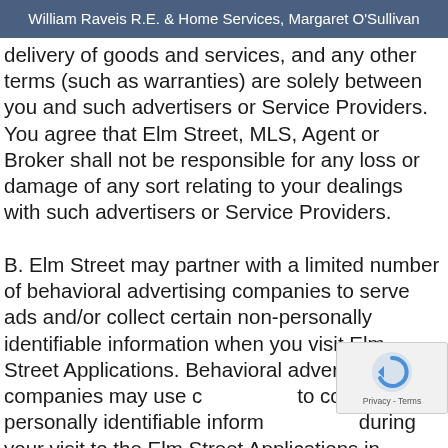William Raveis R.E. & Home Services, Margaret O'Sullivan
delivery of goods and services, and any other terms (such as warranties) are solely between you and such advertisers or Service Providers. You agree that Elm Street, MLS, Agent or Broker shall not be responsible for any loss or damage of any sort relating to your dealings with such advertisers or Service Providers.

B. Elm Street may partner with a limited number of behavioral advertising companies to serve ads and/or collect certain non-personally identifiable information when you visit Elm Street Applications. Behavioral advertising companies may use cookies to collect non-personally identifiable information during your visit to the Elm Street Applications in
[Figure (other): reCAPTCHA badge with circular arrow icon and Privacy - Terms text]